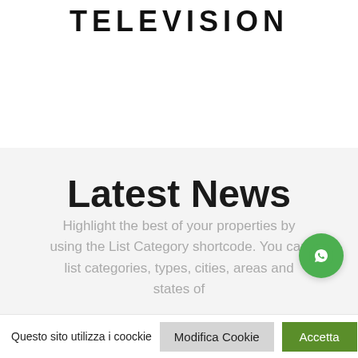TELEVISION
[Figure (other): Carousel pagination dots: six dots in a row, second dot is dark teal (active), others are light teal]
Latest News
Highlight the best of your properties by using the List Category shortcode. You can list categories, types, cities, areas and states of
Questo sito utilizza i coockie
Modifica Cookie
Accetta